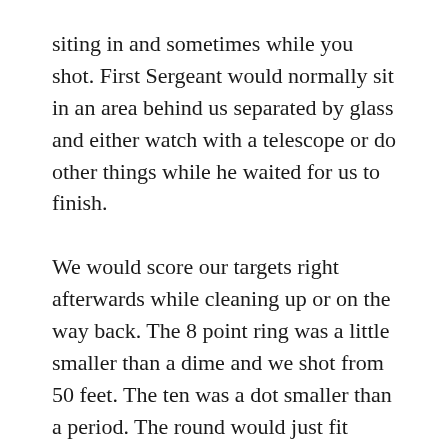siting in and sometimes while you shot. First Sergeant would normally sit in an area behind us separated by glass and either watch with a telescope or do other things while he waited for us to finish.
We would score our targets right afterwards while cleaning up or on the way back. The 8 point ring was a little smaller than a dime and we shot from 50 feet. The ten was a dot smaller than a period. The round would just fit within the eight ring and if it were fully inside it was a “10x” that could be used to break ties.
Prone was easiest since you had most of your body supported to keep you steady, then